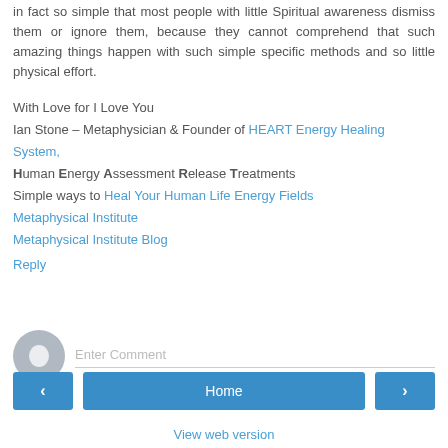in fact so simple that most people with little Spiritual awareness dismiss them or ignore them, because they cannot comprehend that such amazing things happen with such simple specific methods and so little physical effort.
With Love for I Love You
Ian Stone – Metaphysician & Founder of HEART Energy Healing System,
Human Energy Assessment Release Treatments
Simple ways to Heal Your Human Life Energy Fields
Metaphysical Institute
Metaphysical Institute Blog
Reply
[Figure (other): User avatar placeholder icon (grey circle with silhouette) next to an Enter Comment input field]
Home
View web version